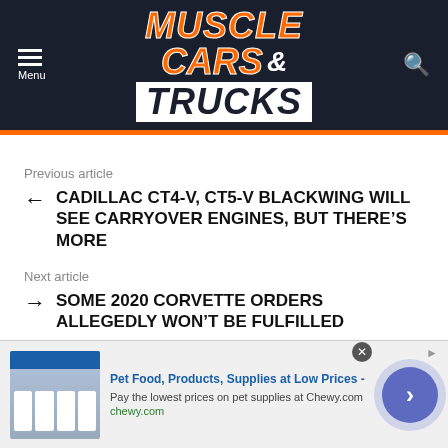[Figure (logo): Muscle Cars & Trucks website logo on dark navy background with orange and white text]
Previous article
← CADILLAC CT4-V, CT5-V BLACKWING WILL SEE CARRYOVER ENGINES, BUT THERE'S MORE
Next article
→ SOME 2020 CORVETTE ORDERS ALLEGEDLY WON'T BE FULFILLED
2 Comments
[Figure (screenshot): Advertisement banner for Chewy.com: Pet Food, Products, Supplies at Low Prices - Pay the lowest prices on pet supplies at Chewy.com]